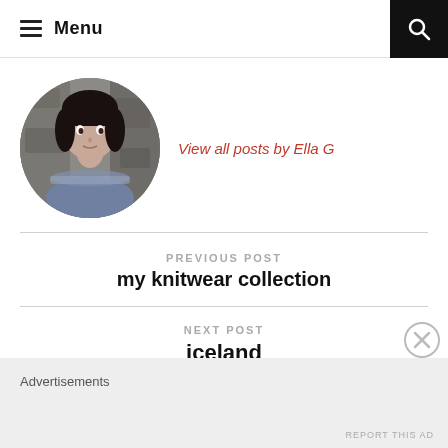Menu
[Figure (photo): Circular avatar photo of Ella G, a woman with dark hair wearing a gray/blue knitted sweater, standing against a rocky background.]
View all posts by Ella G
PREVIOUS POST
my knitwear collection
NEXT POST
iceland
Advertisements
REPORT THIS AD